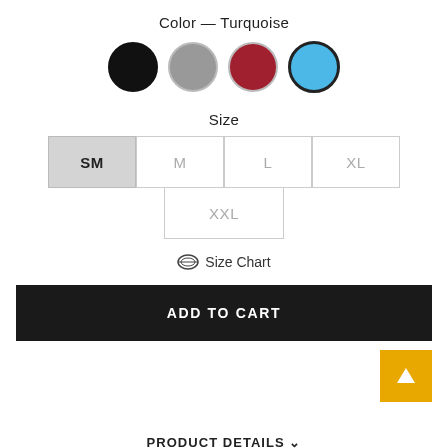Color — Turquoise
[Figure (other): Four color swatches (circles): black, gray, red, turquoise (selected with thick border)]
Size
[Figure (other): Size selector buttons: SM (selected/highlighted), M, L, XL in a row, and XXL below]
📏 Size Chart
ADD TO CART
PRODUCT DETAILS ∨